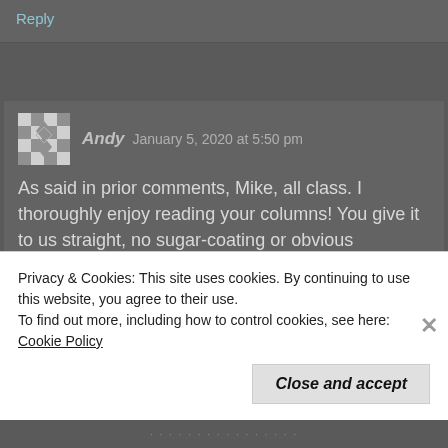Reply
Andy   January 5, 2020 at 5:50 pm
As said in prior comments, Mike, all class. I thoroughly enjoy reading your columns! You give it to us straight, no sugar-coating or obvious
Privacy & Cookies: This site uses cookies. By continuing to use this website, you agree to their use.
To find out more, including how to control cookies, see here: Cookie Policy
Close and accept